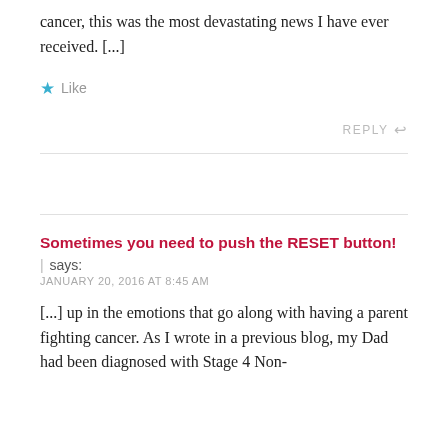cancer, this was the most devastating news I have ever received. [...]
★ Like
REPLY ↩
Sometimes you need to push the RESET button!
| says:
JANUARY 20, 2016 AT 8:45 AM
[...] up in the emotions that go along with having a parent fighting cancer. As I wrote in a previous blog, my Dad had been diagnosed with Stage 4 Non-